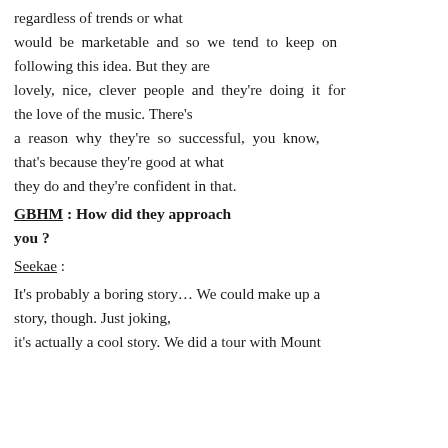regardless of trends or what would be marketable and so we tend to keep on following this idea. But they are lovely, nice, clever people and they're doing it for the love of the music. There's a reason why they're so successful, you know, that's because they're good at what they do and they're confident in that.
GBHM : How did they approach you ?
Seekae :
It's probably a boring story… We could make up a story, though. Just joking, it's actually a cool story. We did a tour with Mount